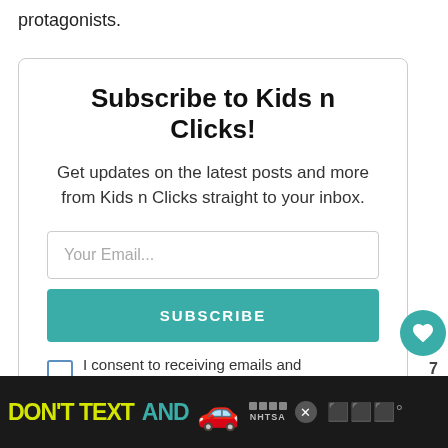protagonists.
Subscribe to Kids n Clicks!
Get updates on the latest posts and more from Kids n Clicks straight to your inbox.
Your Email...
SUBSCRIBE
I consent to receiving emails and personalized ads.
7
WHAT'S NEXT → 40 good looking &...
[Figure (infographic): Bottom advertisement banner: black background with yellow text 'DON'T TEXT' and teal 'AND', a red car emoji, NHTSA ad logo and close button]